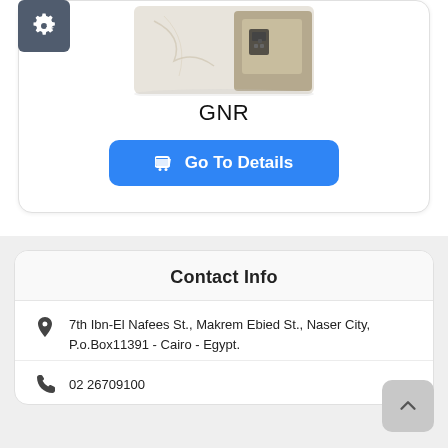[Figure (photo): Product image of a safe/cabinet with marble finish and electronic lock, partially cropped at top]
GNR
Go To Details
Contact Info
7th Ibn-El Nafees St., Makrem Ebied St., Naser City, P.o.Box11391 - Cairo - Egypt.
02 26709100